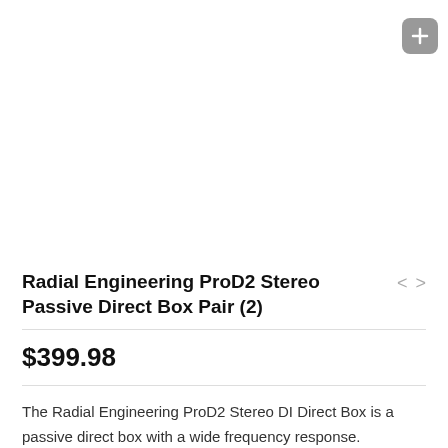[Figure (other): Product image area (white/blank) with a gray rounded plus button in the top-right corner]
Radial Engineering ProD2 Stereo Passive Direct Box Pair (2)
$399.98
The Radial Engineering ProD2 Stereo DI Direct Box is a passive direct box with a wide frequency response. Electronic circuits are used in active direct boxes to adjust the impedance from hi-Z to lo-Z